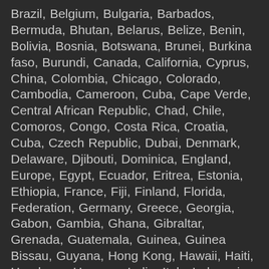Brazil, Belgium, Bulgaria, Barbados, Bermuda, Bhutan, Belarus, Belize, Benin, Bolivia, Bosnia, Botswana, Brunei, Burkina faso, Burundi, Canada, California, Cyprus, China, Colombia, Chicago, Colorado, Cambodia, Cameroon, Cuba, Cape Verde, Central African Republic, Chad, Chile, Comoros, Congo, Costa Rica, Croatia, Cuba, Czech Republic, Dubai, Denmark, Delaware, Djibouti, Dominica, England, Europe, Egypt, Ecuador, Eritrea, Estonia, Ethiopia, France, Fiji, Finland, Florida, Federation, Germany, Greece, Georgia, Gabon, Gambia, Ghana, Gibraltar, Grenada, Guatemala, Guinea, Guinea Bissau, Guyana, Hong Kong, Hawaii, Haiti, Honduras, Hungary, India, Italy, Indonesia, Iraq, Iran, Iceland, Ireland, Israel, Idaho, Indiana, Iowa, Japan, Jamaica, Jordan, Jersey, Kuwait, Korea, Kazakhstan, Kenya, Kiribati, Kansas, Kentucky, Kyrgyzstan, London, Laos, Latvia, Lebanon, Lesotho, Liberia, Louisiana, Libya, Liechtenstein, Lithuania, Malaysia, Maxico, Muscat, Macau, Madagascar, Malawi, Maldives, Mali, Malta, Maine, Maryland, MassaChusetts, Michigan, Montana, Mauritania, Mauritius, Micronesia, Moldova, Monaco, Mongolia, Montenegro, Morocco, Mozambique, Myanmar, Nepal, Netherlands, New Zealand, New York, Nebraska, Newada,